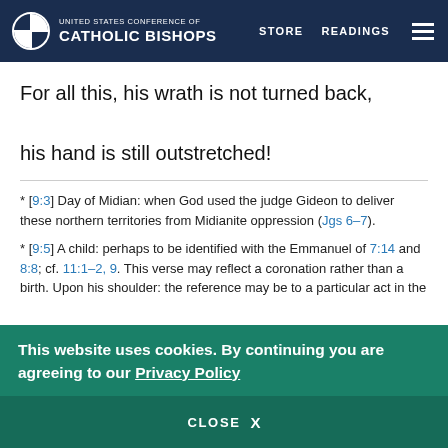United States Conference of Catholic Bishops — STORE READINGS
For all this, his wrath is not turned back,

his hand is still outstretched!
* [9:3] Day of Midian: when God used the judge Gideon to deliver these northern territories from Midianite oppression (Jgs 6–7).
* [9:5] A child: perhaps to be identified with the Emmanuel of 7:14 and 8:8; cf. 11:1–2, 9. This verse may reflect a coronation rather than a birth. Upon his shoulder: the reference may be to a particular act in the
This website uses cookies. By continuing you are agreeing to our Privacy Policy
CLOSE X